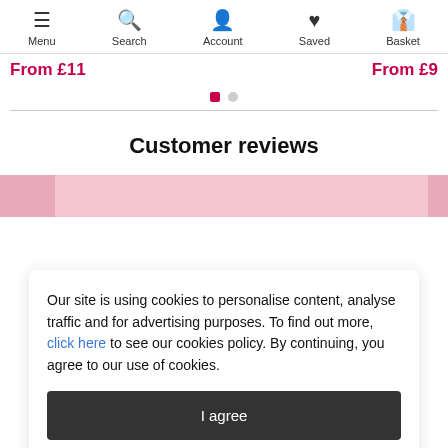Menu | Search | Account | Saved | Basket
From £11   From £9
[Figure (other): Carousel pagination dots — one filled pink square, one grey circle]
Customer reviews
Our site is using cookies to personalise content, analyse traffic and for advertising purposes. To find out more, click here to see our cookies policy. By continuing, you agree to our use of cookies.
I agree